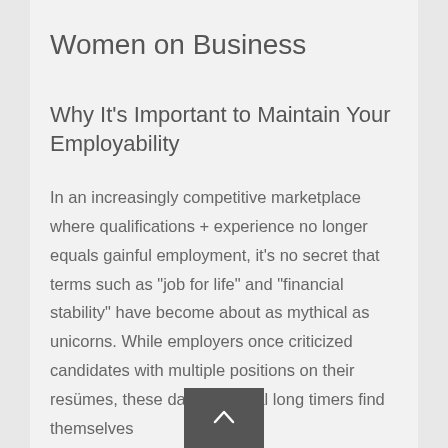Women on Business
Why It’s Important to Maintain Your Employability
In an increasingly competitive marketplace where qualifications + experience no longer equals gainful employment, it’s no secret that terms such as “job for life” and “financial stability” have become about as mythical as unicorns. While employers once criticized candidates with multiple positions on their resümes, these days the loyal long timers find themselves